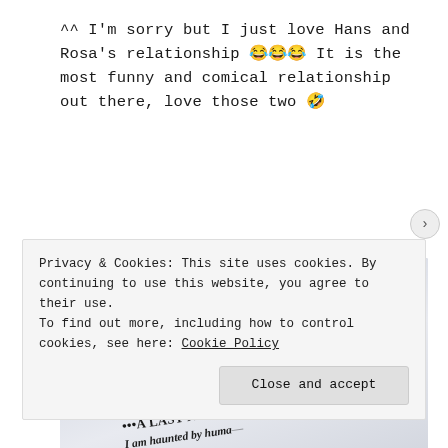^^ I'm sorry but I just love Hans and Rosa's relationship 😂😂😂 It is the most funny and comical relationship out there, love those two 🤣
[Figure (photo): Close-up photo of a book page showing italic text and a bold heading reading '•••A LAST NOTE FROM YOUR NARRA—' and 'I am haunted by huma—', with surrounding italic text about Liesel Meminger and the book thief.]
Privacy & Cookies: This site uses cookies. By continuing to use this website, you agree to their use.
To find out more, including how to control cookies, see here: Cookie Policy